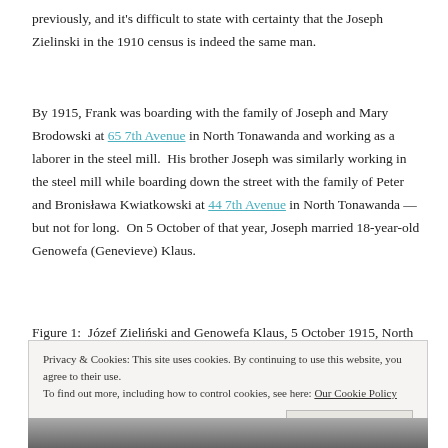previously, and it's difficult to state with certainty that the Joseph Zielinski in the 1910 census is indeed the same man.
By 1915, Frank was boarding with the family of Joseph and Mary Brodowski at 65 7th Avenue in North Tonawanda and working as a laborer in the steel mill.  His brother Joseph was similarly working in the steel mill while boarding down the street with the family of Peter and Bronisława Kwiatkowski at 44 7th Avenue in North Tonawanda — but not for long.  On 5 October of that year, Joseph married 18-year-old Genowefa (Genevieve) Klaus.
Figure 1:  Józef Zielński and Genowefa Klaus, 5 October 1915, North
Privacy & Cookies: This site uses cookies. By continuing to use this website, you agree to their use.
To find out more, including how to control cookies, see here: Our Cookie Policy
[Figure (photo): Black and white photograph strip at the bottom of the page, partially visible]